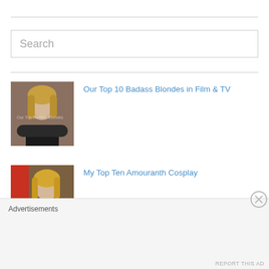Search
[Figure (photo): Thumbnail image for 'Our Top 10 Badass Blondes in Film & TV' article]
Our Top 10 Badass Blondes in Film & TV
[Figure (photo): Thumbnail image for 'My Top Ten Amouranth Cosplay' article]
My Top Ten Amouranth Cosplay
[Figure (photo): Thumbnail image for 'Harry Potter Lingerie, is now a thing' article]
Harry Potter Lingerie, is now a thing
Advertisements
REPORT THIS AD